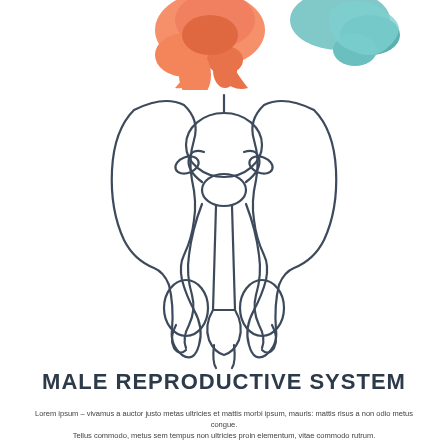[Figure (illustration): Partial colorful anatomical illustration at the top of the page, showing orange and teal anatomical structures cropped at the top edge]
[Figure (illustration): Line drawing icon of the male reproductive system — bladder, prostate, seminal vesicles, vas deferens, penis, and testes — shown from a frontal view in dark gray outline style]
MALE REPRODUCTIVE SYSTEM
Lorem ipsum – vivamus a auctor justo metas ultricies et mattis morbi ipsum, mauris: mattis risus a non odio metus congue. Tellus commodo, metus sem tempus non ultricies proin elementum, vitae commodo rutrum.